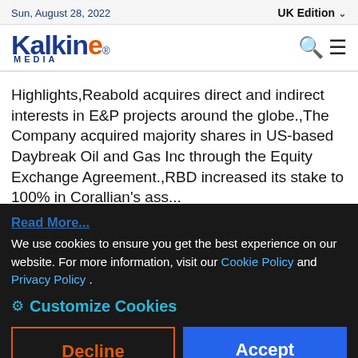Sun, August 28, 2022
[Figure (logo): Kalkine Media logo with blue text and orange E]
Highlights,Reabold acquires direct and indirect interests in E&P projects around the globe.,The Company acquired majority shares in US-based Daybreak Oil and Gas Inc through the Equity Exchange Agreement.,RBD increased its stake to 100% in Corallian's ass...
Read More...
We use cookies to ensure you get the best experience on our website. For more information, visit our Cookie Policy and Privacy Policy .
✿ Customize Cookies
Decline
Accept